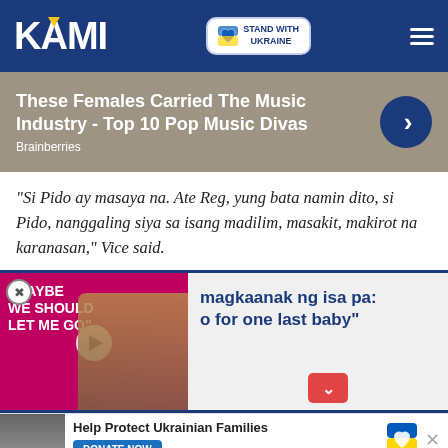KAMI — STAND WITH UKRAINE
[Figure (infographic): Advertisement banner: These Females Carried The Music Industry - Top 10 Pop Music Divas, Brainberries]
“Si Pido ay masaya na. Ate Reg, yung bata namin dito, si Pido, nanggaling siya sa isang madilim, masakit, makirot na karanasan,” Vice said.
[Figure (screenshot): Video thumbnail with text 'MAYBE WE SHOULD LET ME GO' in pink/magenta, beside a couple photo; headline reads '...magkaanak ng isa pa: ...o for one last baby']
[Figure (infographic): Donate bar: Help Protect Ukrainian Families — DONATE NOW, with Ukrainian flag heart icon]